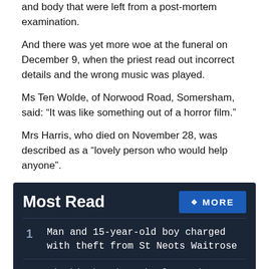and body that were left from a post-mortem examination.
And there was yet more woe at the funeral on December 9, when the priest read out incorrect details and the wrong music was played.
Ms Ten Wolde, of Norwood Road, Somersham, said: “It was like something out of a horror film.”
Mrs Harris, who died on November 28, was described as a “lovely person who would help anyone”.
Most Read
1 Man and 15-year-old boy charged with theft from St Neots Waitrose
2 Hinchingbrooke School receive improved A-Level results